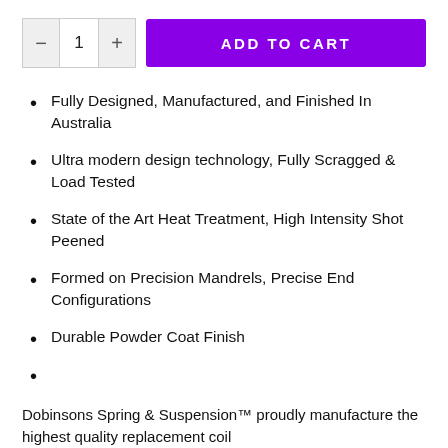[Figure (other): E-commerce add to cart UI: quantity selector (minus, 1, plus) and purple ADD TO CART button]
Fully Designed, Manufactured, and Finished In Australia
Ultra modern design technology, Fully Scragged & Load Tested
State of the Art Heat Treatment, High Intensity Shot Peened
Formed on Precision Mandrels, Precise End Configurations
Durable Powder Coat Finish
Dobinsons Spring & Suspension™ proudly manufacture the highest quality replacement coil